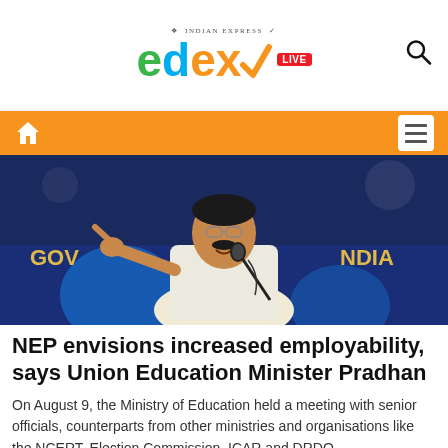EdEx Live — Indian Express
[Figure (photo): Indian Education Minister Pradhan speaking at a podium with microphone, pointing finger, in front of a blue background with text 'GOVERNMENT OF INDIA']
NEP envisions increased employability, says Union Education Minister Pradhan
On August 9, the Ministry of Education held a meeting with senior officials, counterparts from other ministries and organisations like the NCERT, Election Commission, ICAR and DRDO